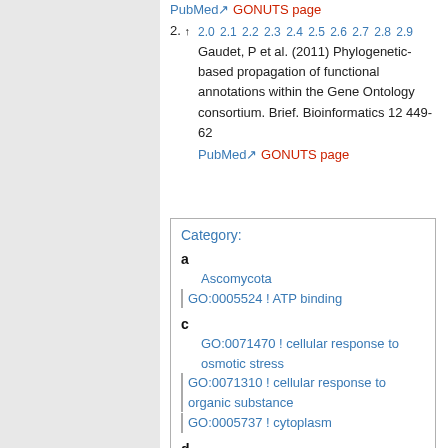PubMed GONUTS page
2. ↑ 2.0 2.1 2.2 2.3 2.4 2.5 2.6 2.7 2.8 2.9
Gaudet, P et al. (2011) Phylogenetic-based propagation of functional annotations within the Gene Ontology consortium. Brief. Bioinformatics 12 449-62
PubMed GONUTS page
Category:
a
Ascomycota
GO:0005524 ! ATP binding
c
GO:0071470 ! cellular response to osmotic stress
GO:0071310 ! cellular response to organic substance
GO:0005737 ! cytoplasm
d